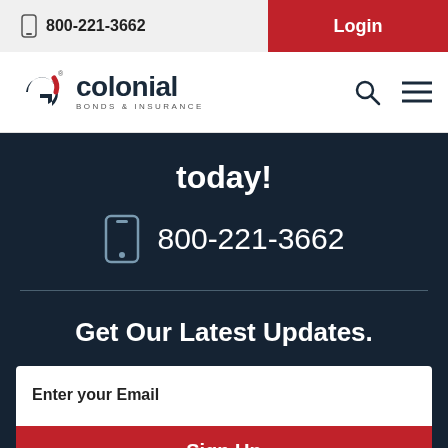800-221-3662  Login
[Figure (logo): Colonial Bonds & Insurance logo with circular G icon in dark blue and red]
today!
800-221-3662
Get Our Latest Updates.
Enter your Email
Sign Up